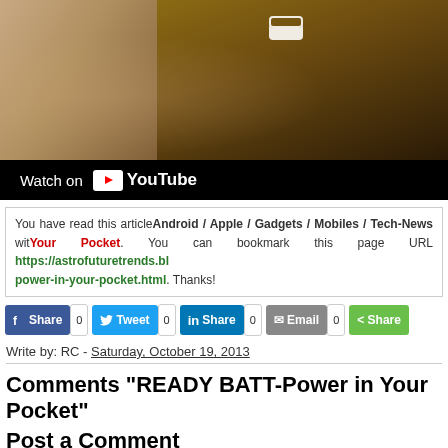[Figure (screenshot): YouTube video thumbnail showing a person from behind with dark background and a 'Watch on YouTube' bar at the bottom]
You have read this article Android / Apple / Gadgets / Mobiles / Tech-News with title Your Pocket. You can bookmark this page URL https://astrofuturetrends.bl power-in-your-pocket.html. Thanks!
[Figure (infographic): Social share buttons row: Facebook Share 0, Twitter Tweet 0, LinkedIn Share 0, Email 0, Share]
Write by: RC - Saturday, October 19, 2013
Comments "READY BATT-Power in Your Pocket"
Post a Comment